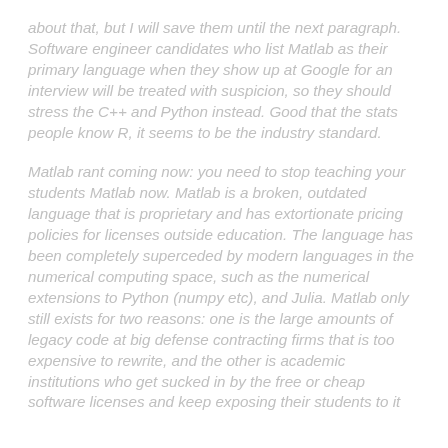about that, but I will save them until the next paragraph. Software engineer candidates who list Matlab as their primary language when they show up at Google for an interview will be treated with suspicion, so they should stress the C++ and Python instead. Good that the stats people know R, it seems to be the industry standard.
Matlab rant coming now: you need to stop teaching your students Matlab now. Matlab is a broken, outdated language that is proprietary and has extortionate pricing policies for licenses outside education. The language has been completely superceded by modern languages in the numerical computing space, such as the numerical extensions to Python (numpy etc), and Julia. Matlab only still exists for two reasons: one is the large amounts of legacy code at big defense contracting firms that is too expensive to rewrite, and the other is academic institutions who get sucked in by the free or cheap software licenses and keep exposing their students to it